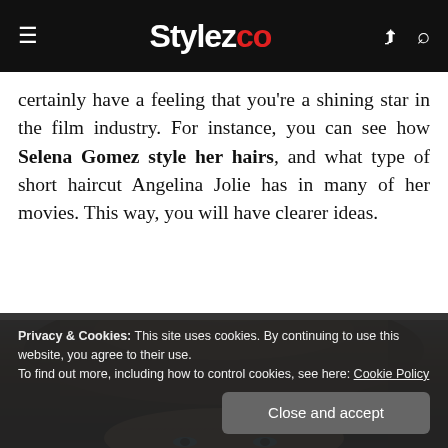Stylezco
certainly have a feeling that you're a shining star in the film industry. For instance, you can see how Selena Gomez style her hairs, and what type of short haircut Angelina Jolie has in many of her movies. This way, you will have clearer ideas.
[Figure (photo): Top-down view of a woman's dark brown hair, with face partially visible at the bottom]
Privacy & Cookies: This site uses cookies. By continuing to use this website, you agree to their use.
To find out more, including how to control cookies, see here: Cookie Policy
Close and accept